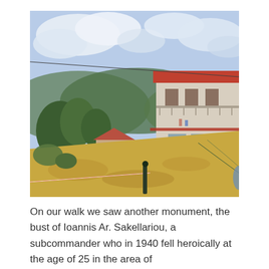[Figure (photo): Outdoor photograph of a hillside Greek village scene. In the foreground there is dry yellow grass/hay on a slope with a red-and-white caution tape barrier and a dark green metal railing. Background shows green trees, a small house with a red tile roof, and a larger modern two-story building with a terracotta tile roof, balconies, and brown shutters on the upper right. Rolling green hills and a cloudy blue sky are visible in the background. A utility wire crosses the upper portion of the image diagonally.]
On our walk we saw another monument, the bust of Ioannis Ar. Sakellariou, a subcommander who in 1940 fell heroically at the age of 25 in the area of